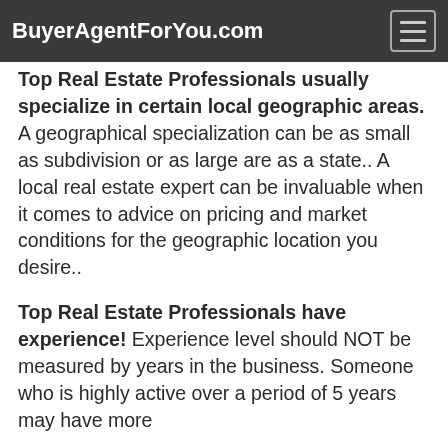BuyerAgentForYou.com
Top Real Estate Professionals usually specialize in certain local geographic areas. A geographical specialization can be as small as subdivision or as large are as a state.. A local real estate expert can be invaluable when it comes to advice on pricing and market conditions for the geographic location you desire..
Top Real Estate Professionals have experience! Experience level should NOT be measured by years in the business. Someone who is highly active over a period of 5 years may have more